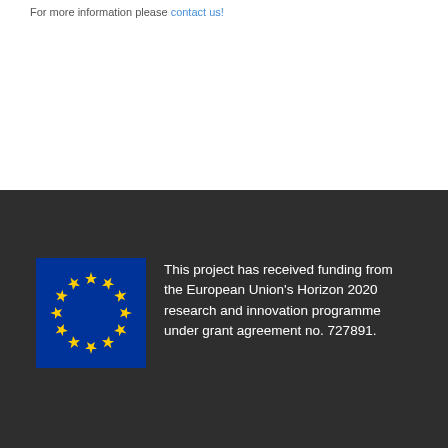For more information please contact us!
[Figure (logo): European Union flag and funding acknowledgement text: This project has received funding from the European Union's Horizon 2020 research and innovation programme under grant agreement no. 727891.]